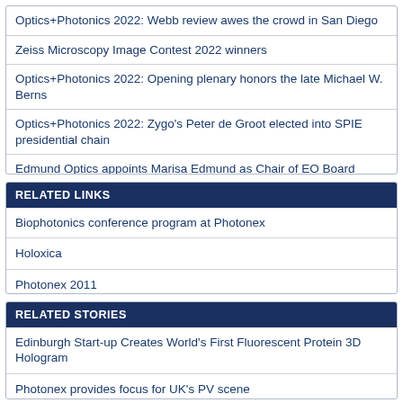Optics+Photonics 2022: Webb review awes the crowd in San Diego
Zeiss Microscopy Image Contest 2022 winners
Optics+Photonics 2022: Opening plenary honors the late Michael W. Berns
Optics+Photonics 2022: Zygo's Peter de Groot elected into SPIE presidential chain
Edmund Optics appoints Marisa Edmund as Chair of EO Board
RELATED LINKS
Biophotonics conference program at Photonex
Holoxica
Photonex 2011
RELATED STORIES
Edinburgh Start-up Creates World's First Fluorescent Protein 3D Hologram
Photonex provides focus for UK's PV scene